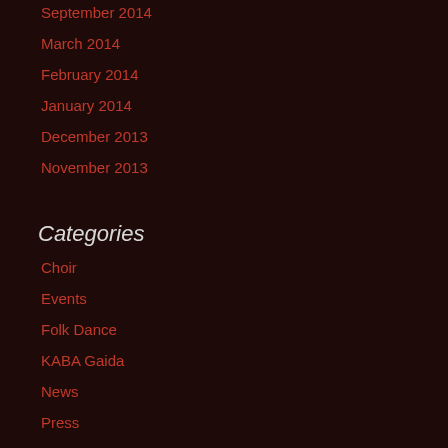September 2014
March 2014
February 2014
January 2014
December 2013
November 2013
Categories
Choir
Events
Folk Dance
KABA Gaida
News
Press